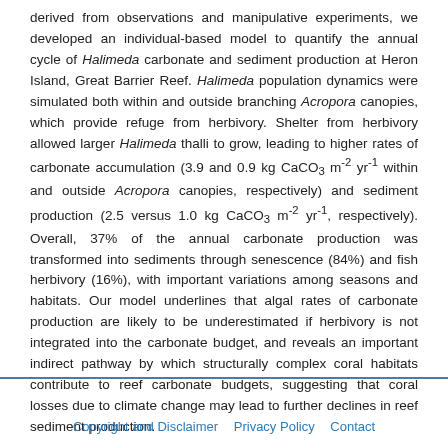derived from observations and manipulative experiments, we developed an individual-based model to quantify the annual cycle of Halimeda carbonate and sediment production at Heron Island, Great Barrier Reef. Halimeda population dynamics were simulated both within and outside branching Acropora canopies, which provide refuge from herbivory. Shelter from herbivory allowed larger Halimeda thalli to grow, leading to higher rates of carbonate accumulation (3.9 and 0.9 kg CaCO3 m-2 yr-1 within and outside Acropora canopies, respectively) and sediment production (2.5 versus 1.0 kg CaCO3 m-2 yr-1, respectively). Overall, 37% of the annual carbonate production was transformed into sediments through senescence (84%) and fish herbivory (16%), with important variations among seasons and habitats. Our model underlines that algal rates of carbonate production are likely to be underestimated if herbivory is not integrated into the carbonate budget, and reveals an important indirect pathway by which structurally complex coral habitats contribute to reef carbonate budgets, suggesting that coral losses due to climate change may lead to further declines in reef sediment production.
KEY WORDS: Reef sediment budgets · Algal demographic rates · Calcareous macroalgae · Herbivory
Copyright and Disclaimer · Privacy Policy · Contact